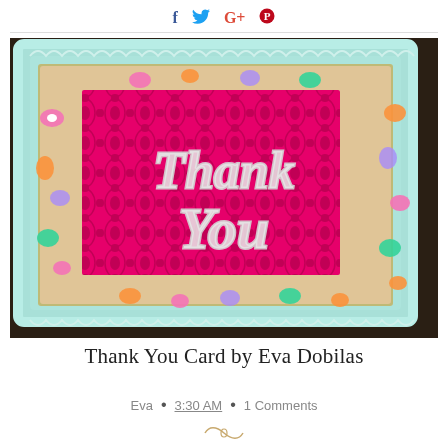[Figure (other): Social sharing icons: Facebook (f), Twitter bird, Google+ (G+), Pinterest (P)]
[Figure (photo): A handmade 'Thank You' card featuring a mint/aqua lace die-cut border frame, colorful floral embellishments, a hot pink damask patterned center panel, and a large glittery silver script 'Thank You' die-cut overlay.]
Thank You Card by Eva Dobilas
Eva • 3:30 AM • 1 Comments